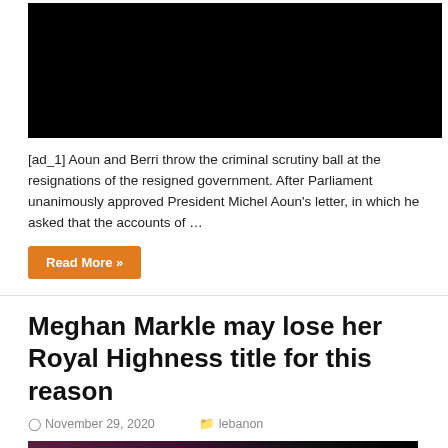[Figure (photo): Black video/image placeholder at top of page]
[ad_1] Aoun and Berri throw the criminal scrutiny ball at the resignations of the resigned government. After Parliament unanimously approved President Michel Aoun's letter, in which he asked that the accounts of …
Read More »
Meghan Markle may lose her Royal Highness title for this reason
November 29, 2020   lebanon
[Figure (photo): Photo of a woman (Meghan Markle) with dark hair against a purple/dark background]